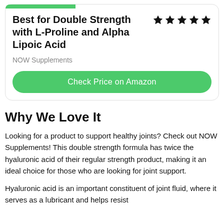Best for Double Strength with L-Proline and Alpha Lipoic Acid
NOW Supplements
Check Price on Amazon
Why We Love It
Looking for a product to support healthy joints? Check out NOW Supplements! This double strength formula has twice the hyaluronic acid of their regular strength product, making it an ideal choice for those who are looking for joint support.
Hyaluronic acid is an important constituent of joint fluid, where it serves as a lubricant and helps resist